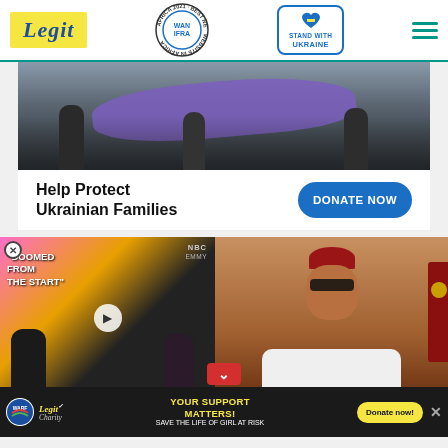[Figure (logo): Legit news website header with Legit logo in yellow, WAN-IFRA Best News Website in Africa 2021 badge, Stand with Ukraine button, and hamburger menu]
[Figure (photo): Photo of people carrying someone wrapped in a purple drape, Ukraine war context]
Help Protect Ukrainian Families
[Figure (other): DONATE NOW blue button]
[Figure (photo): Left: video promo with text DOOMED FROM THE START with two people, NBC/EMMY branding. Right: Nigerian official in red cap and sunglasses with red folder]
[Figure (other): Legit Charity banner: YOUR SUPPORT MATTERS! SAVE THE LIFE OF GIRL AT RISK with Donate now! button]